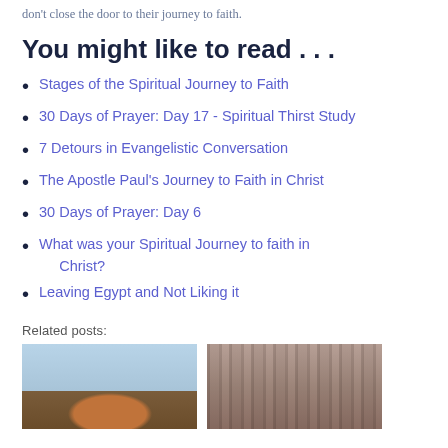don't close the door to their journey to faith.
You might like to read . . .
Stages of the Spiritual Journey to Faith
30 Days of Prayer: Day 17 - Spiritual Thirst Study
7 Detours in Evangelistic Conversation
The Apostle Paul's Journey to Faith in Christ
30 Days of Prayer: Day 6
What was your Spiritual Journey to faith in Christ?
Leaving Egypt and Not Liking it
Related posts:
[Figure (photo): Two related post thumbnail images side by side. Left: a bird in flight against a blue-grey sky. Right: bare winter trees in a misty forest.]